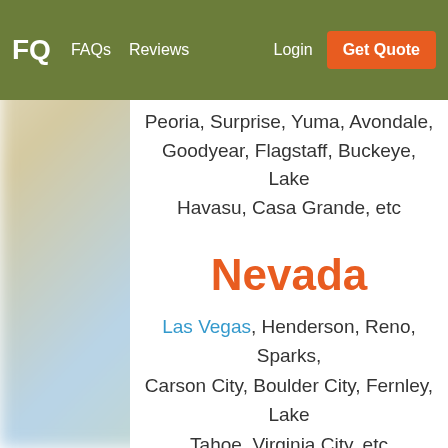FQ  FAQs  Reviews  Login  Get Quote
Peoria, Surprise, Yuma, Avondale, Goodyear, Flagstaff, Buckeye, Lake Havasu, Casa Grande, etc
Nevada
Las Vegas, Henderson, Reno, Sparks, Carson City, Boulder City, Fernley, Lake Tahoe, Virginia City, etc
Colorado
Denver, Colorado Springs, Aurora, Fort Collins, Lakewood, Thornton, Arvada,